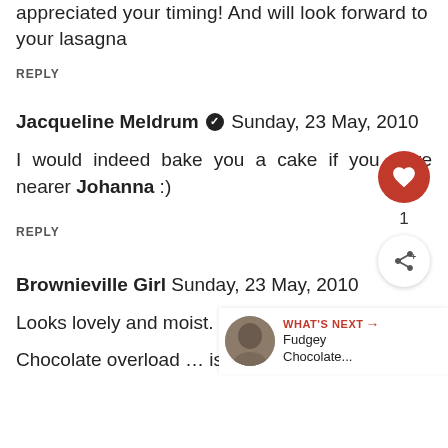appreciated your timing! And will look forward to your lasagna
REPLY
Jacqueline Meldrum ✔ Sunday, 23 May, 2010
I would indeed bake you a cake if you were nearer Johanna :)
REPLY
Brownieville Girl Sunday, 23 May, 2010
Looks lovely and moist.
Chocolate overload … is that
[Figure (infographic): WHAT'S NEXT arrow label with thumbnail image and text 'Fudgey Chocolate...']